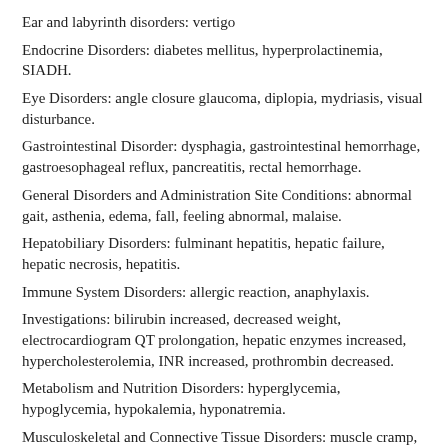Ear and labyrinth disorders: vertigo
Endocrine Disorders: diabetes mellitus, hyperprolactinemia, SIADH.
Eye Disorders: angle closure glaucoma, diplopia, mydriasis, visual disturbance.
Gastrointestinal Disorder: dysphagia, gastrointestinal hemorrhage, gastroesophageal reflux, pancreatitis, rectal hemorrhage.
General Disorders and Administration Site Conditions: abnormal gait, asthenia, edema, fall, feeling abnormal, malaise.
Hepatobiliary Disorders: fulminant hepatitis, hepatic failure, hepatic necrosis, hepatitis.
Immune System Disorders: allergic reaction, anaphylaxis.
Investigations: bilirubin increased, decreased weight, electrocardiogram QT prolongation, hepatic enzymes increased, hypercholesterolemia, INR increased, prothrombin decreased.
Metabolism and Nutrition Disorders: hyperglycemia, hypoglycemia, hypokalemia, hyponatremia.
Musculoskeletal and Connective Tissue Disorders: muscle cramp, muscle stiffness, muscle weakness, rhabdomyolysis.